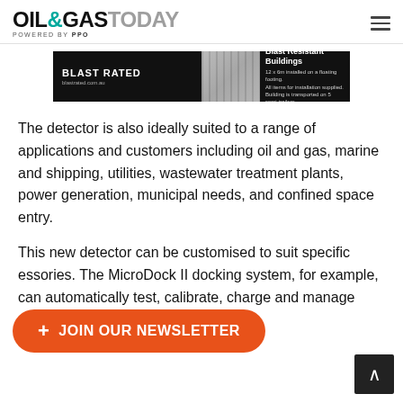OIL&GASTODAY POWERED BY PPO
[Figure (photo): Blast Rated advertisement banner showing blast resistant buildings — 12 x 6m installed on a floating footing, all items for installation supplied, building is transported on 5 semi-trailers. Website: blastrated.com.au]
The detector is also ideally suited to a range of applications and customers including oil and gas, marine and shipping, utilities, wastewater treatment plants, power generation, municipal needs, and confined space entry.
This new detector can be customised to suit specific essories. The MicroDock II docking system, for example, can automatically test, calibrate, charge and manage data